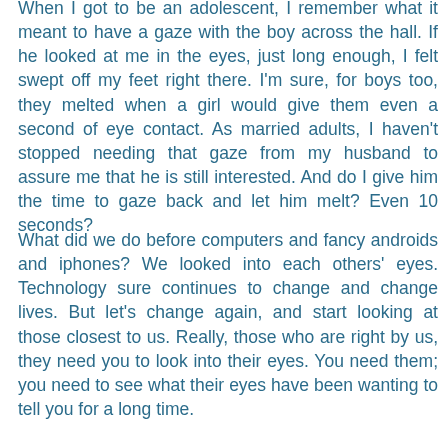When I got to be an adolescent, I remember what it meant to have a gaze with the boy across the hall. If he looked at me in the eyes, just long enough, I felt swept off my feet right there. I'm sure, for boys too, they melted when a girl would give them even a second of eye contact. As married adults, I haven't stopped needing that gaze from my husband to assure me that he is still interested. And do I give him the time to gaze back and let him melt? Even 10 seconds?
What did we do before computers and fancy androids and iphones? We looked into each others' eyes. Technology sure continues to change and change lives. But let's change again, and start looking at those closest to us. Really, those who are right by us, they need you to look into their eyes. You need them; you need to see what their eyes have been wanting to tell you for a long time.